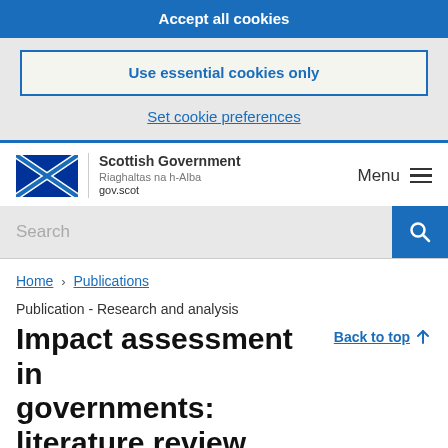Accept all cookies
Use essential cookies only
Set cookie preferences
Scottish Government Riaghaltas na h-Alba gov.scot
Menu
Search
Home › Publications
Publication - Research and analysis
Impact assessment in governments: literature review